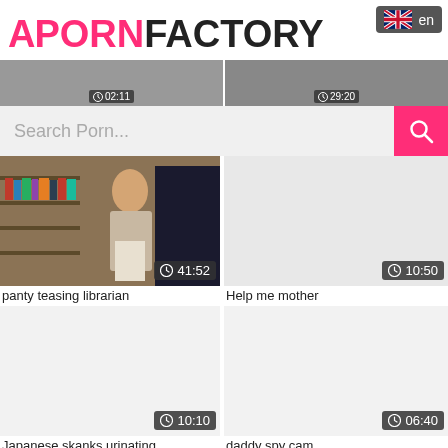A PORNFACTORY
en
Search Porn...
[Figure (screenshot): Video thumbnail showing a woman leaning against bookshelves in a library, duration 41:52]
panty teasing librarian
[Figure (screenshot): Blank/dark video thumbnail, duration 10:50]
Help me mother
[Figure (screenshot): Blank/light video thumbnail, duration 10:10]
Japanese skanks urinating
[Figure (screenshot): Blank/light video thumbnail, duration 06:40]
daddy spy cam
[Figure (screenshot): Blank/light video thumbnail, partially visible at bottom]
[Figure (screenshot): Blank/light video thumbnail, partially visible at bottom]